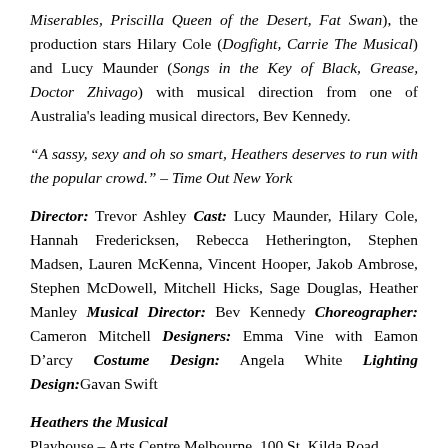Miserables, Priscilla Queen of the Desert, Fat Swan), the production stars Hilary Cole (Dogfight, Carrie The Musical) and Lucy Maunder (Songs in the Key of Black, Grease, Doctor Zhivago) with musical direction from one of Australia's leading musical directors, Bev Kennedy.
“A sassy, sexy and oh so smart, Heathers deserves to run with the popular crowd.” – Time Out New York
Director: Trevor Ashley Cast: Lucy Maunder, Hilary Cole, Hannah Fredericksen, Rebecca Hetherington, Stephen Madsen, Lauren McKenna, Vincent Hooper, Jakob Ambrose, Stephen McDowell, Mitchell Hicks, Sage Douglas, Heather Manley Musical Director: Bev Kennedy Choreographer: Cameron Mitchell Designers: Emma Vine with Eamon D’arcy Costume Design: Angela White Lighting Design: Gavan Swift
Heathers the Musical
Playhouse – Arts Centre Melbourne, 100 St. Kilda Road,